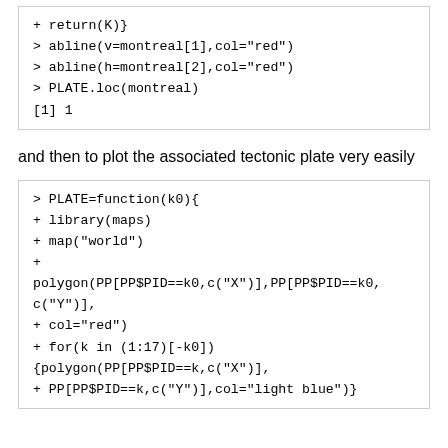[Figure (screenshot): R code block showing: + return(K)} > abline(v=montreal[1],col="red") > abline(h=montreal[2],col="red") > PLATE.loc(montreal) [1] 1]
and then to plot the associated tectonic plate very easily
[Figure (screenshot): R code block showing: > PLATE=function(k0){ + library(maps) + map("world") + polygon(PP[PP$PID==k0,c("X")],PP[PP$PID==k0,c("Y")], + col="red") + for(k in (1:17)[-k0]) {polygon(PP[PP$PID==k,c("X")], + PP[PP$PID==k,c("Y")],col="light blue")}]